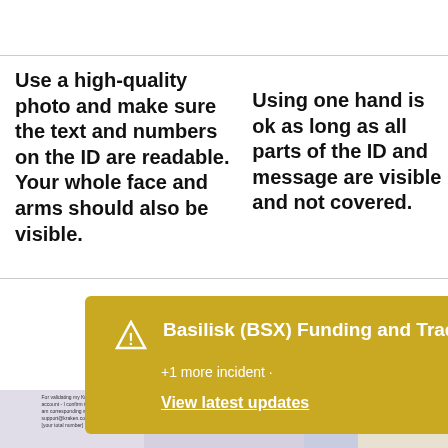Use a high-quality photo and make sure the text and numbers on the ID are readable. Your whole face and arms should also be visible.
Using one hand is ok as long as all parts of the ID and message are visible and not covered.
[Figure (infographic): Notification banner with gold/yellow background showing 'Basilisk (BSX) Funding and Trading suspended' alert with +1 more incident text, a View latest updates link, a warning diamond icon, and a close X button. Partially overlaid on illustration of a person.]